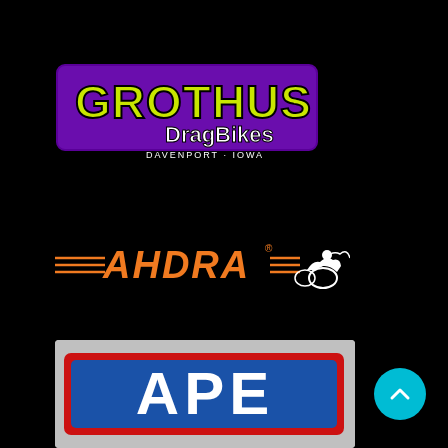[Figure (logo): Grothus DragBikes logo - yellow/green graffiti-style text 'GROTHUS' on purple background with 'DragBikes' in white text and 'DAVENPORT · IOWA' below]
[Figure (logo): AHDRA logo - orange italic 'AHDRA' text with horizontal speed lines and a white motorcycle silhouette graphic]
[Figure (logo): APE logo - white bold 'APE' letters on blue background with red border on grey/silver background]